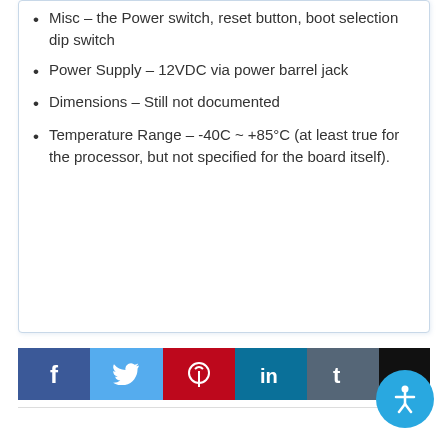Misc – the Power switch, reset button, boot selection dip switch
Power Supply – 12VDC via power barrel jack
Dimensions – Still not documented
Temperature Range – -40C ~ +85°C (at least true for the processor, but not specified for the board itself).
[Figure (infographic): Social sharing buttons: Facebook (blue), Twitter (light blue), Pinterest (red), LinkedIn (teal), Tumblr (dark gray), and one partially visible dark button. An accessibility (person icon) circular button overlaps on the right.]